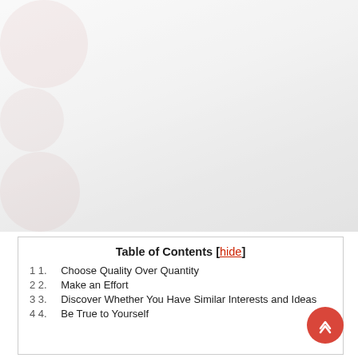[Figure (photo): Faded/blurred background photo of a group of people, mostly washed out in light tones with faint reddish silhouettes]
Table of Contents [hide]
1 1.  Choose Quality Over Quantity
2 2.  Make an Effort
3 3.  Discover Whether You Have Similar Interests and Ideas
4 4.  Be True to Yourself